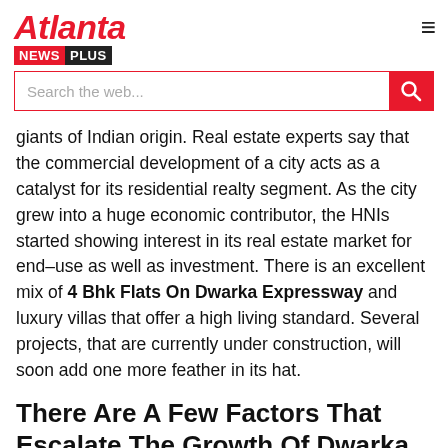Atlanta NEWS PLUS
giants of Indian origin. Real estate experts say that the commercial development of a city acts as a catalyst for its residential realty segment. As the city grew into a huge economic contributor, the HNIs started showing interest in its real estate market for end–use as well as investment. There is an excellent mix of 4 Bhk Flats On Dwarka Expressway and luxury villas that offer a high living standard. Several projects, that are currently under construction, will soon add one more feather in its hat.
There Are A Few Factors That Escalate The Growth Of Dwarka Expressway Apartments: